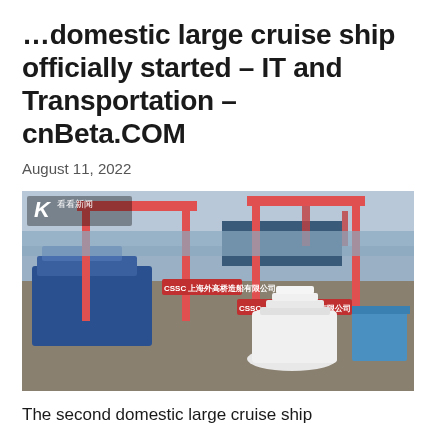...domestic large cruise ship officially started – IT and Transportation – cnBeta.COM
August 11, 2022
[Figure (photo): Aerial view of a large Chinese shipyard showing the second domestic large cruise ship under construction. Large red gantry cranes with CSSC markings span the dry docks. Multiple vessels are visible, including a partially constructed white cruise ship hull in the foreground with circular deck structures. A waterway is visible in the background. A logo and Chinese text '看看新闻' is visible in the upper left corner.]
The second domestic large cruise ship